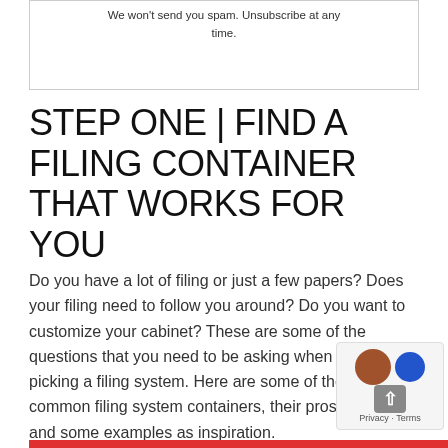We won't send you spam. Unsubscribe at any time.
STEP ONE | FIND A FILING CONTAINER THAT WORKS FOR YOU
Do you have a lot of filing or just a few papers? Does your filing need to follow you around? Do you want to customize your cabinet? These are some of the questions that you need to be asking when you're picking a filing system. Here are some of the most common filing system containers, their pros and cons, and some examples as inspiration.